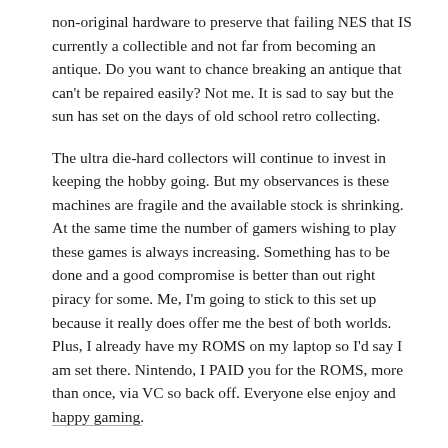non-original hardware to preserve that failing NES that IS currently a collectible and not far from becoming an antique. Do you want to chance breaking an antique that can't be repaired easily? Not me. It is sad to say but the sun has set on the days of old school retro collecting.
The ultra die-hard collectors will continue to invest in keeping the hobby going. But my observances is these machines are fragile and the available stock is shrinking. At the same time the number of gamers wishing to play these games is always increasing. Something has to be done and a good compromise is better than out right piracy for some. Me, I'm going to stick to this set up because it really does offer me the best of both worlds. Plus, I already have my ROMS on my laptop so I'd say I am set there. Nintendo, I PAID you for the ROMS, more than once, via VC so back off. Everyone else enjoy and happy gaming.